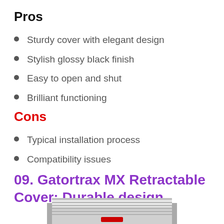Pros
Sturdy cover with elegant design
Stylish glossy black finish
Easy to open and shut
Brilliant functioning
Cons
Typical installation process
Compatibility issues
09. Gatortrax MX Retractable Cover: Durable design
[Figure (photo): Photo of a Gatortrax MX retractable truck bed cover, silver/white, partially visible at the bottom of the page]